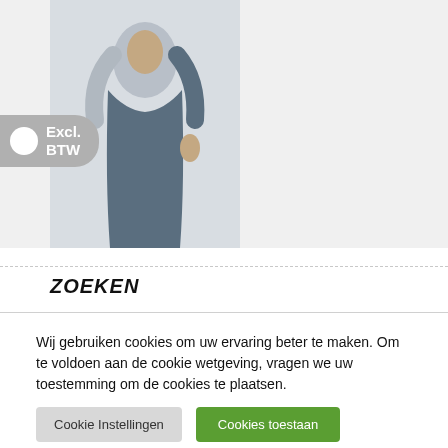[Figure (photo): Product photo of a woman wearing a dark blue/teal fitted dress, shown from waist down, with an 'Excl. BTW' toggle badge on the left side.]
ZOEKEN
Wij gebruiken cookies om uw ervaring beter te maken. Om te voldoen aan de cookie wetgeving, vragen we uw toestemming om de cookies te plaatsen.
Cookie Instellingen
Cookies toestaan